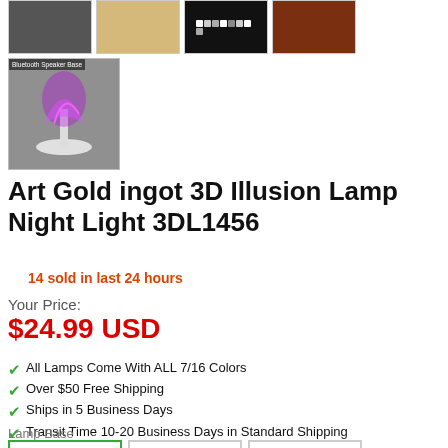[Figure (photo): Four product thumbnail images in a row at the top of the page]
[Figure (photo): Large product thumbnail showing a purple shark 3D illusion lamp with Bluetooth Speaker Base label]
Art Gold ingot 3D Illusion Lamp Night Light 3DL1456
14 sold in last 24 hours
Your Price:
$24.99 USD
All Lamps Come With ALL 7/16 Colors
Over $50 Free Shipping
Ships in 5 Business Days
Transit Time 10-20 Business Days in Standard Shipping
Transit Time 3-7 Business Days in Express Shipping
Lamp Base